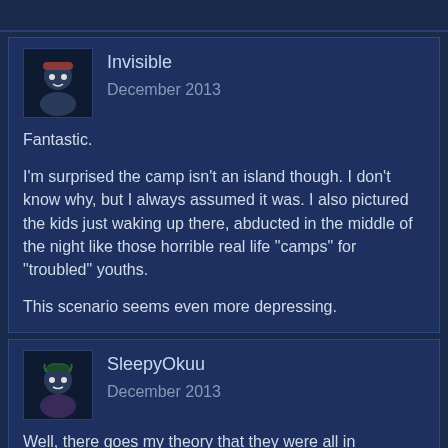Invisible
December 2013

Fantastic.

I'm surprised the camp isn't an island though. I don't know why, but I always assumed it was. I also pictured the kids just waking up there, abducted in the middle of the night like those horrible real life "camps" for "troubled" youths.

This scenario seems even more depressing.
SleepyOkuu
December 2013

Well, there goes my theory that they were all in purgatory.

Then again, that is my go-to theory for any piece of fiction ever. It often doesn't really hold up.